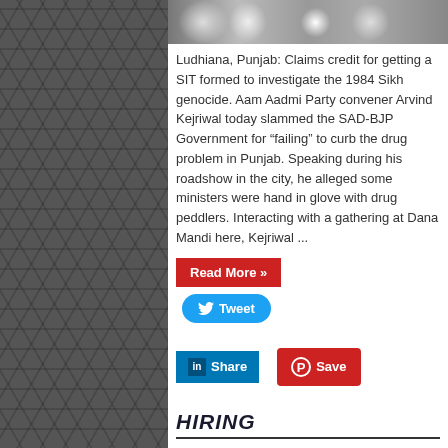[Figure (photo): A group photo with people wearing turbans, partially visible at the top]
Ludhiana, Punjab: Claims credit for getting a SIT formed to investigate the 1984 Sikh genocide. Aam Aadmi Party convener Arvind Kejriwal today slammed the SAD-BJP Government for “failing” to curb the drug problem in Punjab. Speaking during his roadshow in the city, he alleged some ministers were hand in glove with drug peddlers. Interacting with a gathering at Dana Mandi here, Kejriwal ...
Read More »
Tweet
Share
Save
HIRING
SIKHSANGAT NEWS ARE HIRING FREELANCE JOURNALIST. CONTACT US